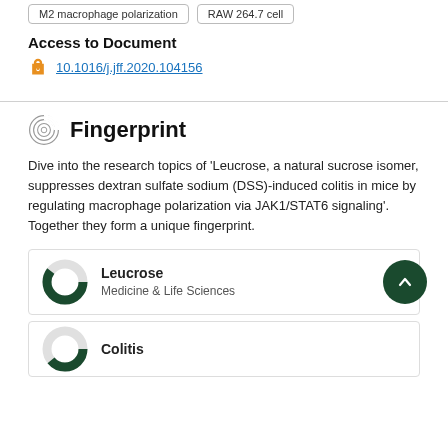M2 macrophage polarization
RAW 264.7 cell
Access to Document
10.1016/j.jff.2020.104156
Fingerprint
Dive into the research topics of 'Leucrose, a natural sucrose isomer, suppresses dextran sulfate sodium (DSS)-induced colitis in mice by regulating macrophage polarization via JAK1/STAT6 signaling'. Together they form a unique fingerprint.
Leucrose
Medicine & Life Sciences
Colitis